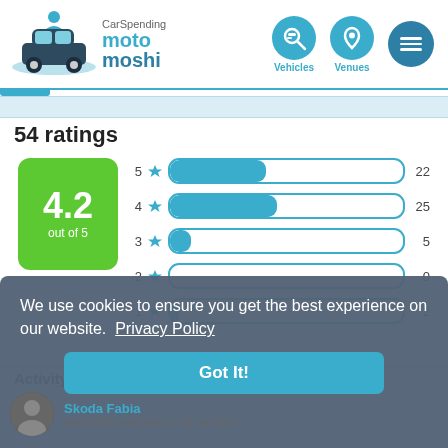CarSpending moto moshi – Vehicles, Venues, Menu navigation
54 ratings
[Figure (bar-chart): Ratings distribution (out of 5)]
We use cookies to ensure you get the best experience on our website.  Privacy Policy
Got It!
Activity feed
Skoda Fabia
vladi.1996 was here on 23 Jul 2022
Skoda Fabia